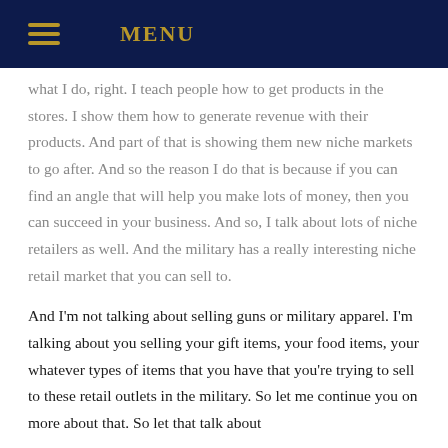MENU
what I do, right. I teach people how to get products in the stores. I show them how to generate revenue with their products. And part of that is showing them new niche markets to go after. And so the reason I do that is because if you can find an angle that will help you make lots of money, then you can succeed in your business. And so, I talk about lots of niche retailers as well. And the military has a really interesting niche retail market that you can sell to.
And I'm not talking about selling guns or military apparel. I'm talking about you selling your gift items, your food items, your whatever types of items that you have that you're trying to sell to these retail outlets in the military. So let me continue you on more about that. So let that talk about